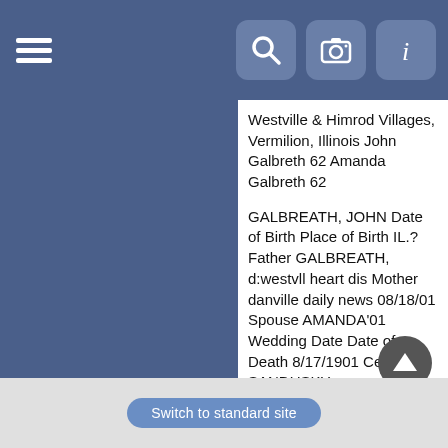Westville & Himrod Villages, Vermilion, Illinois John Galbreth 62 Amanda Galbreth 62
GALBREATH, JOHN Date of Birth Place of Birth IL.? Father GALBREATH, d:westvll heart dis Mother danville daily news 08/18/01 Spouse AMANDA'01 Wedding Date Date of Death 8/17/1901 Cemetery SANDUSKY
John Galbreath BIRTH 21 Feb 1838 Pennsylvania, USA DEATH 17 Aug 1901 Vermilion County, Illinois, USA BURIAL Sandusky Cemetery Westville, Vermilion County, Illinois, USA GPS Add coordinates MEMORIAL ID 8310768 MEMORIAL PHOTOS 2 FLOWERS 1 John Galbreath was married to Amanda Thomas. He was the father of Joseph A. Galbreath, gfather of Clyde Gilbreath, ggfather of Kenneth Gilbreath, gggfather of Greg Gilbreath. Family Members Spouse Photo Amanda Thomas Galbreath 1837–1901 Children Photo Mary Jane Galbreath Rice* 1860–1931 Photo Nancy P. Galbreath Brooks* 1873–1895
Switch to standard site